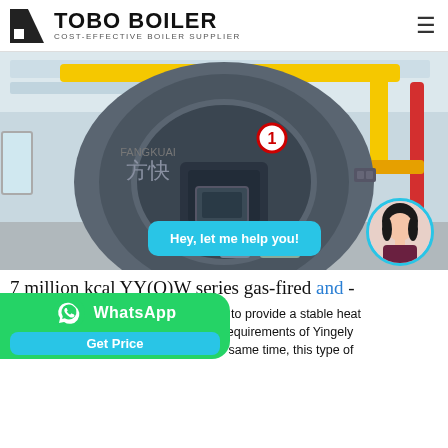TOBO BOILER — COST-EFFECTIVE BOILER SUPPLIER
[Figure (photo): Industrial boiler room showing a large cylindrical grey boiler with Chinese text (方快) and number 1, yellow and red pipes overhead, with a chat bubble overlay saying 'Hey, let me help you!' and a customer service avatar.]
7 million kcal YY(Q)W series gas-fired and -
the automatic control system to provide a stable heat at the high temperature requirements of Yingely Chemical's resin production line. At the same time, this type of